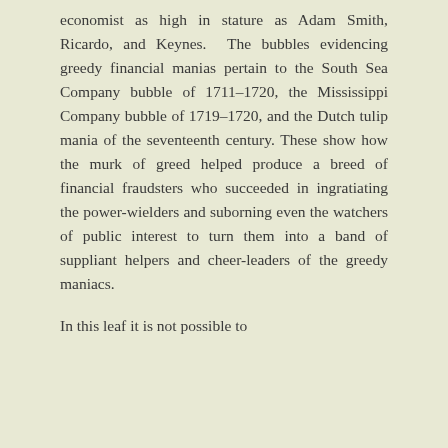economist as high in stature as Adam Smith, Ricardo, and Keynes. The bubbles evidencing greedy financial manias pertain to the South Sea Company bubble of 1711–1720, the Mississippi Company bubble of 1719–1720, and the Dutch tulip mania of the seventeenth century. These show how the murk of greed helped produce a breed of financial fraudsters who succeeded in ingratiating the power-wielders and suborning even the watchers of public interest to turn them into a band of suppliant helpers and cheer-leaders of the greedy maniacs.
In this leaf it is not possible to